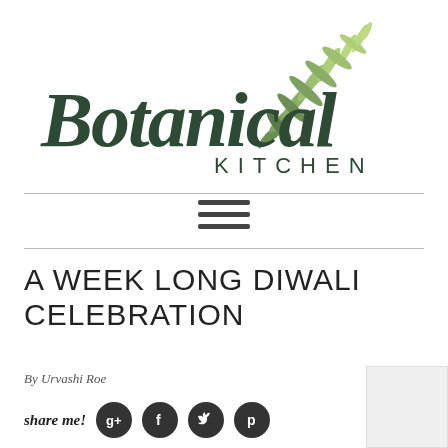[Figure (logo): Botanical Kitchen logo with cursive 'Botanical' text and 'KITCHEN' in spaced capitals, with a watercolor rosemary sprig illustration above]
A WEEK LONG DIWALI CELEBRATION
By Urvashi Roe
share me!